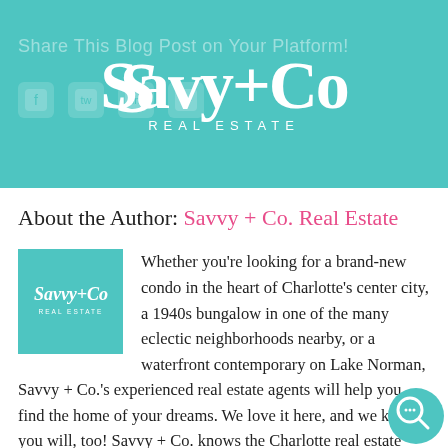[Figure (logo): Savvy+Co Real Estate logo on teal/turquoise background banner with 'Share This Blog Post on Your Platform!' text and faint social media icons]
About the Author: Savvy + Co. Real Estate
[Figure (logo): Savvy+Co Real Estate small square logo on teal background]
Whether you're looking for a brand-new condo in the heart of Charlotte's center city, a 1940s bungalow in one of the many eclectic neighborhoods nearby, or a waterfront contemporary on Lake Norman, Savvy + Co.'s experienced real estate agents will help you find the home of your dreams. We love it here, and we know you will, too! Savvy + Co. knows the Charlotte real estate market and can help you if you are looking for a new home or if you are selling your existing home.